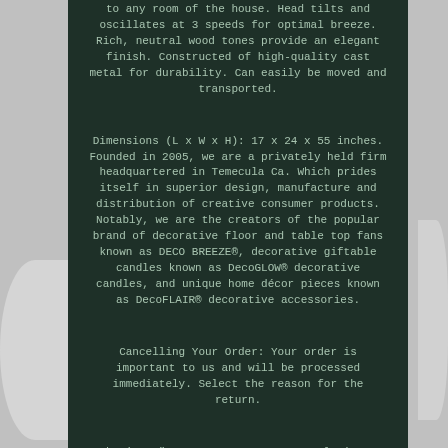to any room of the house. Head tilts and oscillates at 3 speeds for optimal breeze. Rich, neutral wood tones provide an elegant finish. Constructed of high-quality cast metal for durability. Can easily be moved and transported.
Dimensions (L x W x H): 17 x 24 x 55 inches. Founded in 2005, we are a privately held firm headquartered in Temecula Ca. Which prides itself in superior design, manufacture and distribution of creative consumer products. Notably, we are the creators of the popular brand of decorative floor and table top fans known as DECO BREEZE®, decorative giftable candles known as DecoGLOW® decorative candles, and unique home décor pieces known as DecoFLAIR® decorative accessories.
Cancelling Your Order: Your order is important to us and will be processed immediately. Select the reason for the return.
The item "DecoBreeze DBF0439 Cantalonia 17 Inch Indoor Floor Fan with Wood Tone Finish" is in sale since Monday, June 8, 2020. This item is in the category "Home & Garden\Home Improvement\Heating, Cooling & Air\Indoor Air Quality & Fans\Portable Fans".